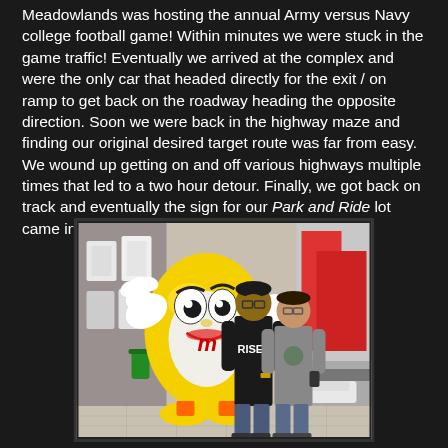Meadowlands was hosting the annual Army versus Navy college football game!  Within minutes we were stuck in the game traffic!  Eventually we arrived at the complex and were the only car that headed directly for the exit / on ramp to get back on the roadway heading the opposite direction.  Soon we were back in the highway maze and finding our original desired target route was far from easy.  We wound up getting on and off various highways multiple times that led to a two hour detour.  Finally, we got back on track and eventually the sign for our Park and Ride lot came into view! Touchdown!
[Figure (photo): Two people posing next to a large yellow M&M character mascot statue/display inside what appears to be a store or tourist attraction. The M&M character is yellow and large, with white gloves. One person is wearing a dark hoodie with 'RISE' visible, and the other is wearing a gray shirt. Store merchandise and city street visible in background.]